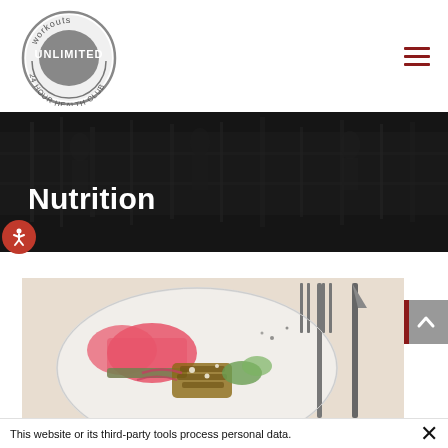[Figure (logo): Workouts Unlimited 24 Hour Health Club circular logo with gray/dark color scheme]
Nutrition
[Figure (photo): A plate with grilled food, watermelon, and vegetables, with fork and knife beside it]
This website or its third-party tools process personal data.